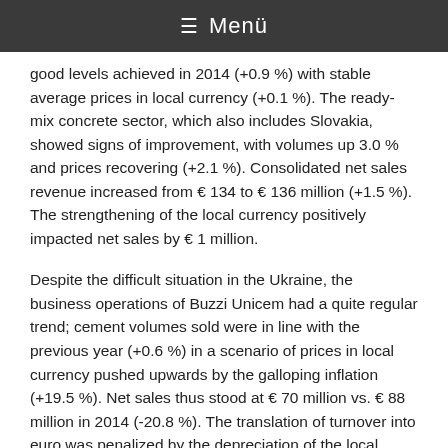≡ Menü
good levels achieved in 2014 (+0.9 %) with stable average prices in local currency (+0.1 %). The ready-mix concrete sector, which also includes Slovakia, showed signs of improvement, with volumes up 3.0 % and prices recovering (+2.1 %). Consolidated net sales revenue increased from € 134 to € 136 million (+1.5 %). The strengthening of the local currency positively impacted net sales by € 1 million.
Despite the difficult situation in the Ukraine, the business operations of Buzzi Unicem had a quite regular trend; cement volumes sold were in line with the previous year (+0.6 %) in a scenario of prices in local currency pushed upwards by the galloping inflation (+19.5 %). Net sales thus stood at € 70 million vs. € 88 million in 2014 (-20.8 %). The translation of turnover into euro was penalized by the depreciation of the local currency (-€ 37 million).
In Russia, the sales volumes of Buzzi Unicem, which benefited from the Korkino cement plant entering the scope of consolidation, were up 8.4 % on 2014; like-for-like the volumes sold would have decreased by 14.3 %. The category